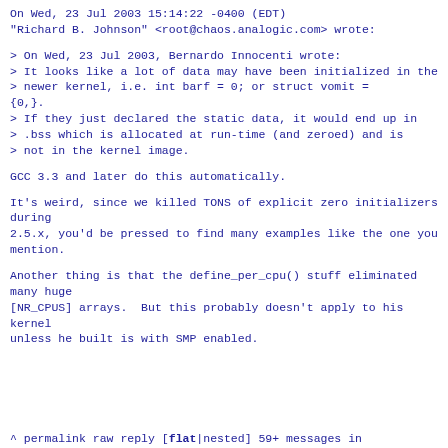On Wed, 23 Jul 2003 15:14:22 -0400 (EDT)
"Richard B. Johnson" <root@chaos.analogic.com> wrote:
> On Wed, 23 Jul 2003, Bernardo Innocenti wrote:
> It looks like a lot of data may have been initialized in the
> newer kernel, i.e. int barf = 0; or struct vomit =
{0,}.
> If they just declared the static data, it would end up in
> .bss which is allocated at run-time (and zeroed) and is
> not in the kernel image.
GCC 3.3 and later do this automatically.
It's weird, since we killed TONS of explicit zero initializers during
2.5.x, you'd be pressed to find many examples like the one you
mention.
Another thing is that the define_per_cpu() stuff eliminated many huge
[NR_CPUS] arrays.  But this probably doesn't apply to his kernel
unless he built is with SMP enabled.
^ permalink raw reply   [flat|nested] 59+ messages in